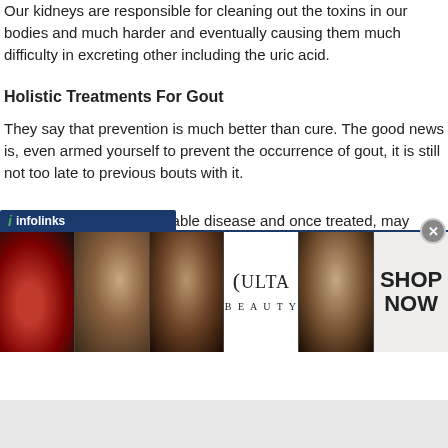Our kidneys are responsible for cleaning out the toxins in our bodies and much harder and eventually causing them much difficulty in excreting other including the uric acid.
Holistic Treatments For Gout
They say that prevention is much better than cure. The good news is, even having armed yourself to prevent the occurrence of gout, it is still not too late to deal with previous bouts with it.
Gout is very much a treatable disease and once treated, may disappear healthy. All it takes is a healthy and positive attitude and a few lifestyle changes to anti-aging.
Of course, you may take the shorter way of managing your gout through prednisone and other medicines.
[Figure (infographic): ULTA beauty advertisement banner with makeup imagery including lips, brush, eyes, ULTA logo, and SHOP NOW text]